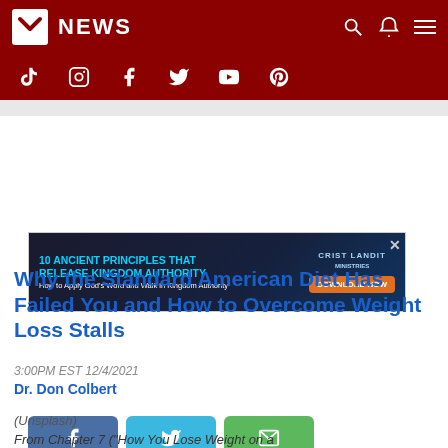NEWS
[Figure (screenshot): Social media icons bar: TikTok, Instagram, Facebook, Twitter, YouTube, Pinterest on dark red background]
[Figure (infographic): Advertisement banner: 10 Ancient Principles That Release Kingdom Authority - How to Apply God's Word and Walk in Kingdom Authority - Download Now]
[Figure (infographic): Social share buttons: Facebook (blue), Twitter (cyan), Email (green)]
Why the Standard American Diet Has Failed You and How to Overcome Weight Loss Stalls
3:00PM EST 12/4/2021
Dr. Don Colbert
(Unsplash)
From Chapter 7 ("How You Lose Weight on a